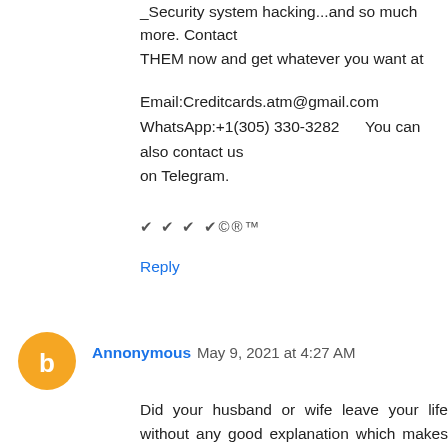_Security system hacking...and so much more. Contact THEM now and get whatever you want at
Email:Creditcards.atm@gmail.com
WhatsApp:+1(305) 330-3282      You can also contact us on Telegram.
✔ ✔ ✔ ✔©®™
Reply
Annonymous  May 9, 2021 at 4:27 AM
Did your husband or wife leave your life without any good explanation which makes you confused and you want them back in your life? Dr Ilekhojie is the right man for the job, he is a powerful spell caster blessed by his ancestors and accepted by the gods as their mouthpiece on earth, Dr Ilekhojie help me save my broken home by bringing back my husband to me with his powerful spell. I and my husband was separated 9 months without communication but with the spell cast by Dr Ilekhojie, he is back and we